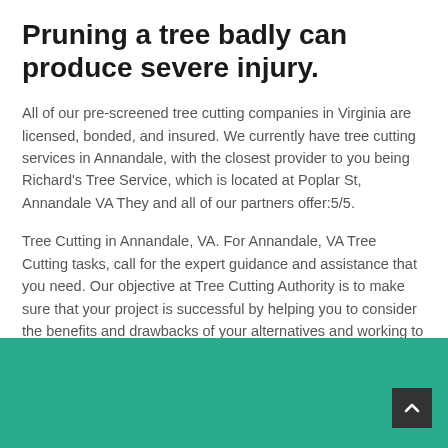Pruning a tree badly can produce severe injury.
All of our pre-screened tree cutting companies in Virginia are licensed, bonded, and insured. We currently have tree cutting services in Annandale, with the closest provider to you being Richard's Tree Service, which is located at Poplar St, Annandale VA They and all of our partners offer:5/5.
Tree Cutting in Annandale, VA. For Annandale, VA Tree Cutting tasks, call for the expert guidance and assistance that you need. Our objective at Tree Cutting Authority is to make sure that your project is successful by helping you to consider the benefits and drawbacks of your alternatives and working to finish your job within your financial budget.